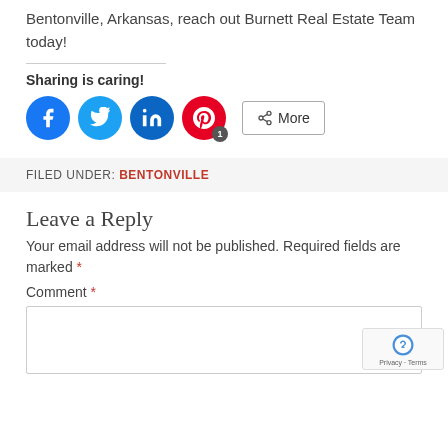Bentonville, Arkansas, reach out Burnett Real Estate Team today!
Sharing is caring!
[Figure (infographic): Social sharing icons: Facebook (blue circle), Twitter (light blue circle), LinkedIn (dark blue circle), Pinterest (red circle with badge '1'), and a 'More' button]
FILED UNDER: BENTONVILLE
Leave a Reply
Your email address will not be published. Required fields are marked *
Comment *
[Figure (other): Empty comment textarea input box with reCAPTCHA badge in bottom right corner showing Privacy - Terms]